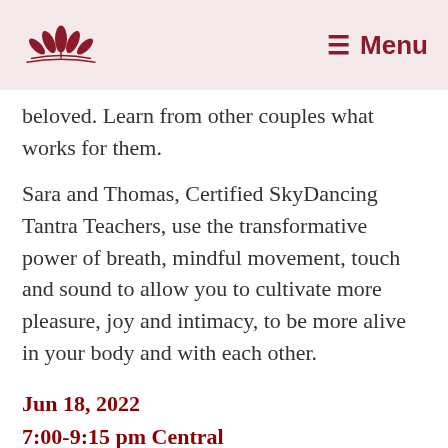[Logo] Menu
beloved. Learn from other couples what works for them.
Sara and Thomas, Certified SkyDancing Tantra Teachers, use the transformative power of breath, mindful movement, touch and sound to allow you to cultivate more pleasure, joy and intimacy, to be more alive in your body and with each other.
Jun 18, 2022
7:00-9:15 pm Central
5:00-7:15 pm Pacific
Cost: approx $49